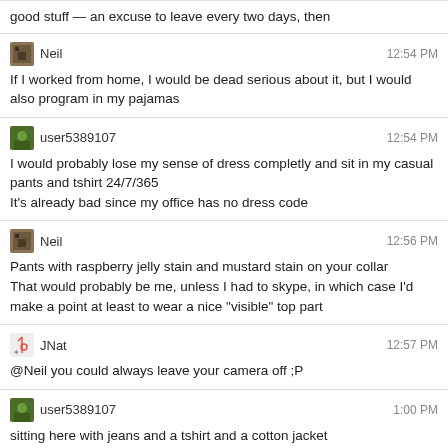good stuff — an excuse to leave every two days, then
Neil 12:54 PM
If I worked from home, I would be dead serious about it, but I would also program in my pajamas
user5389107 12:54 PM
I would probably lose my sense of dress completly and sit in my casual pants and tshirt 24/7/365
It's already bad since my office has no dress code
Neil 12:56 PM
Pants with raspberry jelly stain and mustard stain on your collar
That would probably be me, unless I had to skype, in which case I'd make a point at least to wear a nice "visible" top part
JNat 12:57 PM
@Neil you could always leave your camera off ;P
user5389107 1:00 PM
sitting here with jeans and a tshirt and a cotton jacket
Neil 1:12 PM
@user5389107 nothing wrong with that
If not perhaps a little cold. I'd be cold in this office if I wore that
Journeyman Geek 1:34 PM